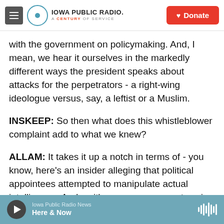Iowa Public Radio — A Century of Service | Donate
with the government on policymaking. And, I mean, we hear it ourselves in the markedly different ways the president speaks about attacks for the perpetrators - a right-wing ideologue versus, say, a leftist or a Muslim.
INSKEEP: So then what does this whistleblower complaint add to what we knew?
ALLAM: It takes it up a notch in terms of - you know, here's an insider alleging that political appointees attempted to manipulate actual intelligence. And so it's one more account saying
Iowa Public Radio News — Here & Now